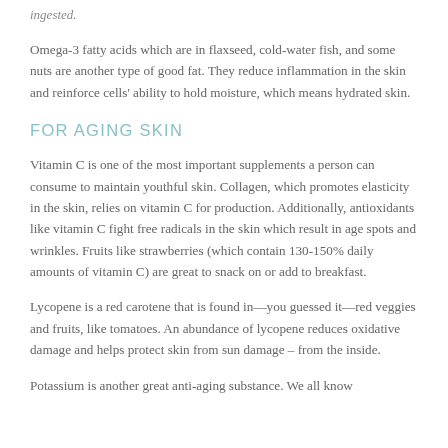ingested.
Omega-3 fatty acids which are in flaxseed, cold-water fish, and some nuts are another type of good fat. They reduce inflammation in the skin and reinforce cells' ability to hold moisture, which means hydrated skin.
FOR AGING SKIN
Vitamin C is one of the most important supplements a person can consume to maintain youthful skin. Collagen, which promotes elasticity in the skin, relies on vitamin C for production. Additionally, antioxidants like vitamin C fight free radicals in the skin which result in age spots and wrinkles. Fruits like strawberries (which contain 130-150% daily amounts of vitamin C) are great to snack on or add to breakfast.
Lycopene is a red carotene that is found in—you guessed it—red veggies and fruits, like tomatoes. An abundance of lycopene reduces oxidative damage and helps protect skin from sun damage – from the inside.
Potassium is another great anti-aging substance. We all know